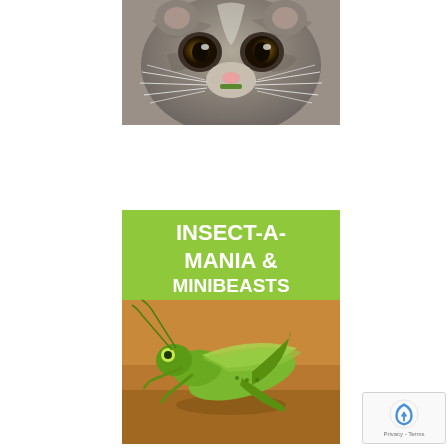[Figure (photo): Close-up photo of a small furry animal (possibly a possum or similar marsupial) with large round eyes, whiskers, and a striped grey face, biting on a green leaf or stem. White background around the image.]
[Figure (photo): Book cover or promotional image for 'INSECT-A-MANIA & MINIBEASTS'. Top portion is a bright lime-green rectangle with white bold text reading 'INSECT-A-MANIA & MINIBEASTS'. Bottom portion shows a photo of a green grasshopper on sandy/orange ground.]